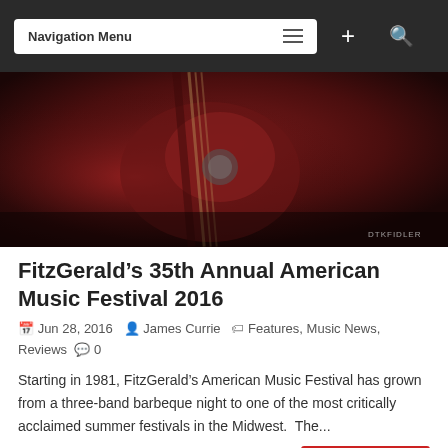Navigation Menu
[Figure (photo): Close-up photo of an electric guitar, dark red/maroon tones with photographer watermark DTKFIDLER in lower right corner]
FitzGerald’s 35th Annual American Music Festival 2016
Jun 28, 2016  James Currie  Features, Music News, Reviews  0
Starting in 1981, FitzGerald’s American Music Festival has grown from a three-band barbeque night to one of the most critically acclaimed summer festivals in the Midwest.  The...
Read More
[Figure (photo): Partial view of CHICAGO text logo in dark red/maroon collegiate block letters at bottom of page]